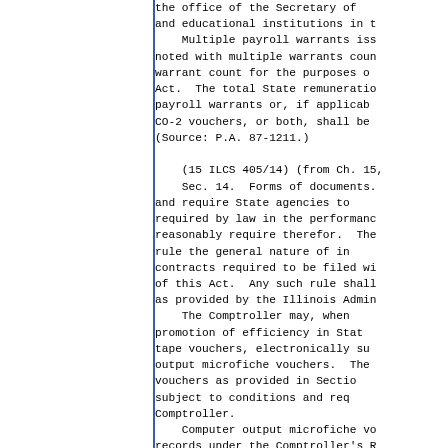the office of the Secretary of State and educational institutions in t
    Multiple payroll warrants iss noted with multiple warrants coun warrant count for the purposes o Act. The total State remuneratio payroll warrants or, if applicab CO-2 vouchers, or both, shall be (Source: P.A. 87-1211.)

    (15 ILCS 405/14) (from Ch. 15,
    Sec. 14. Forms of documents. and require State agencies to required by law in the performanc reasonably require therefor. The rule the general nature of in contracts required to be filed wi of this Act. Any such rule shall as provided by the Illinois Admin
    The Comptroller may, when promotion of efficiency in Stat tape vouchers, electronically su output microfiche vouchers. The vouchers as provided in Sectio subject to conditions and req Comptroller.
    Computer output microfiche vo records under the Comptroller's R (Source: P.A. 91-357, eff. 7-29-9